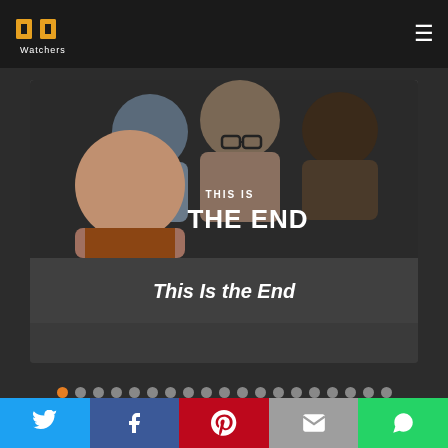[Figure (logo): PP Watchers logo — two yellow headphone-like P letters above the word Watchers]
[Figure (photo): Movie poster for 'This Is the End' showing three actors grimacing/screaming with the bold title text 'THIS IS THE END']
This Is the End
[Figure (infographic): A row of pagination dots; the first dot is orange/active, the remaining ~18 are gray]